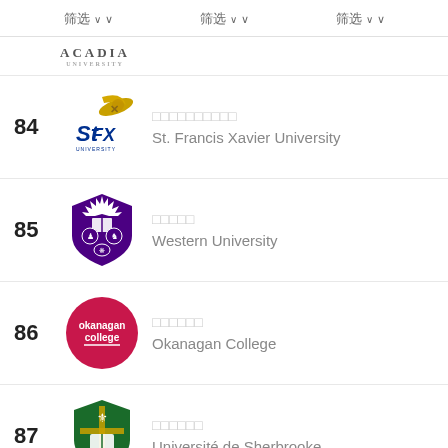筛选 筛选 筛选
[Figure (logo): Acadia University logo text]
84 圣弗朗西斯泽维尔大学 St. Francis Xavier University
85 西部大学 Western University
86 奥卡纳根学院 Okanagan College
87 舍布鲁克大学 Université de Sherbrooke